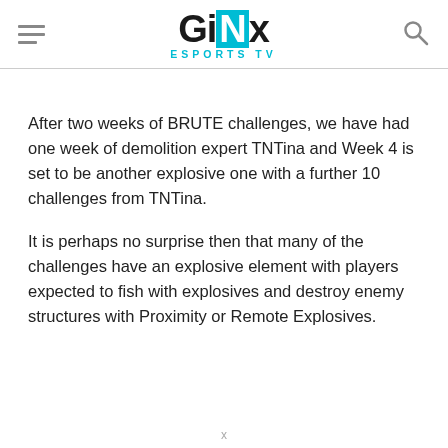GINX ESPORTS TV
After two weeks of BRUTE challenges, we have had one week of demolition expert TNTina and Week 4 is set to be another explosive one with a further 10 challenges from TNTina.
It is perhaps no surprise then that many of the challenges have an explosive element with players expected to fish with explosives and destroy enemy structures with Proximity or Remote Explosives.